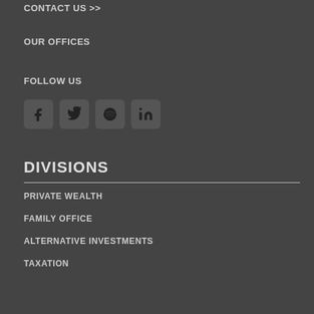CONTACT US >>
OUR OFFICES
FOLLOW US
[Figure (infographic): Four social media icon buttons in rounded square style: Facebook (f), Twitter (bird), Spotify (waves), LinkedIn (in)]
DIVISIONS
PRIVATE WEALTH
FAMILY OFFICE
ALTERNATIVE INVESTMENTS
TAXATION